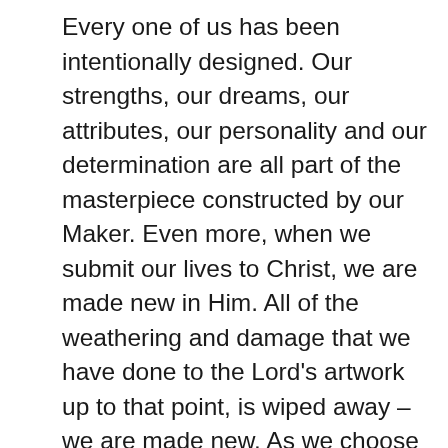Every one of us has been intentionally designed. Our strengths, our dreams, our attributes, our personality and our determination are all part of the masterpiece constructed by our Maker. Even more, when we submit our lives to Christ, we are made new in Him. All of the weathering and damage that we have done to the Lord’s artwork up to that point, is wiped away – we are made new. As we choose to embrace this space of being a new creation, we are able in Him, to go forth and do the things that He designed us to do, before we had life and breath. May we rise up and go forth in the plans and purposes that we were designed to do, as we embrace His